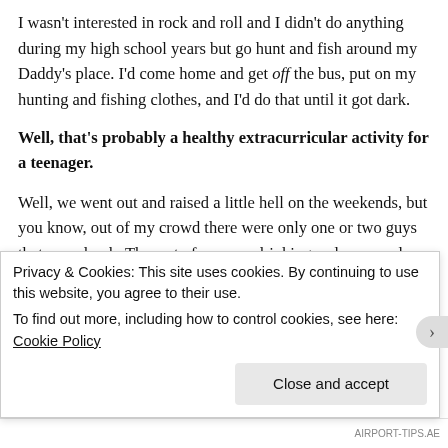I wasn't interested in rock and roll and I didn't do anything during my high school years but go hunt and fish around my Daddy's place. I'd come home and get off the bus, put on my hunting and fishing clothes, and I'd do that until it got dark.
Well, that's probably a healthy extracurricular activity for a teenager.
Well, we went out and raised a little hell on the weekends, but you know, out of my crowd there were only one or two guys that ever drank. The rest of us were drinking soda pop and doing crazy shit. But we were really kind of innocent, in a sense. We didn't get into any kind of trouble like kids do now
Privacy & Cookies: This site uses cookies. By continuing to use this website, you agree to their use.
To find out more, including how to control cookies, see here: Cookie Policy
Close and accept